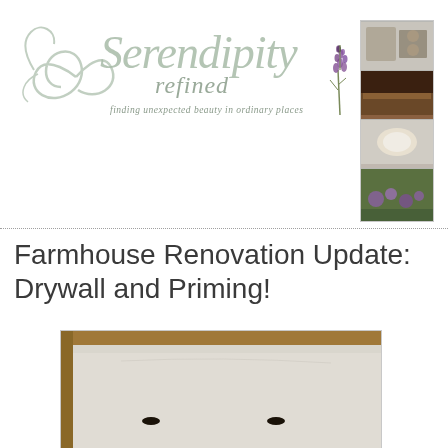[Figure (logo): Serendipity Refined blog logo with decorative swirl, lavender flowers, cursive text reading 'Serendipity refined - finding unexpected beauty in ordinary places', and a sidebar banner with four stacked photos on the right]
Farmhouse Renovation Update: Drywall and Priming!
[Figure (photo): Close-up photo of a drywall installation with wood framing visible at the top, showing the white/grey drywall surface with two screw holes visible]